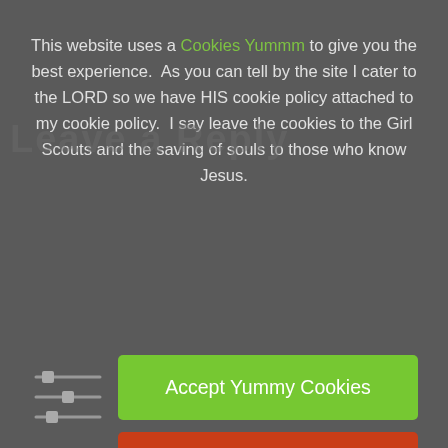This website uses a Cookies Yummm to give you the best experience. As you can tell by the site I cater to the LORD so we have HIS cookie policy attached to my cookie policy. I say leave the cookies to the Girl Scouts and the saving of souls to those who know Jesus.
[Figure (screenshot): Green 'Accept Yummy Cookies' button and red 'Decline Cookies' button shown in a cookie consent overlay on a dark gray background. A slider/filter icon appears to the left of the buttons.]